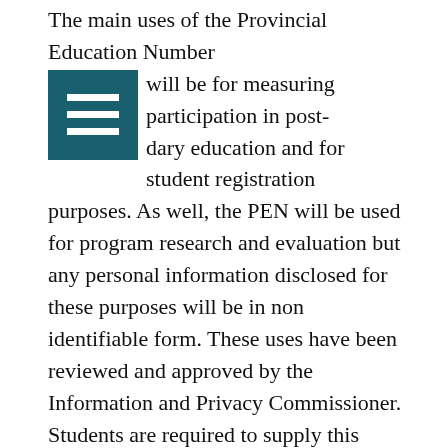The main uses of the Provincial Education Number will be for measuring participation in post-secondary education and for student registration purposes. As well, the PEN will be used for program research and evaluation but any personal information disclosed for these purposes will be in non identifiable form. These uses have been reviewed and approved by the Information and Privacy Commissioner. Students are required to supply this information to complete their registration in courses or programs at the institution.
More Information
If you have questions or concerns about freedom of information and privacy at College of the Rockies, please contact our Freedom of Information Officer: